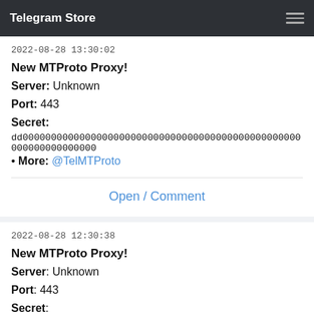Telegram Store
2022-08-28 13:30:02
New MTProto Proxy! Server: Unknown Port: 443 Secret: dd0000000000000000000000000000000000000000000000000000000000000000 • More: @TelMTProto
Open / Comment
2022-08-28 12:30:38
New MTProto Proxy! Server: Unknown Port: 443 Secret: